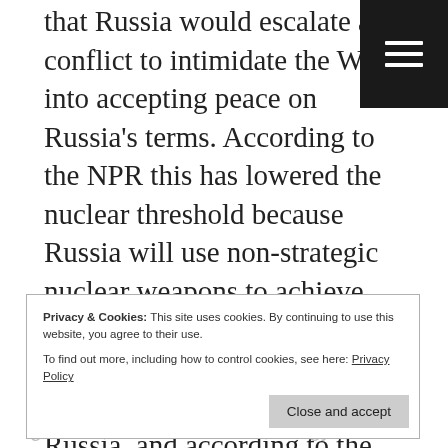that Russia would escalate a conflict to intimidate the West into accepting peace on Russia's terms. According to the NPR this has lowered the nuclear threshold because Russia will use non-strategic nuclear weapons to achieve this goal. The West does not have the same arsenal of non-strategic nuclear weapons as Russia, and according to the NPR this may lead Russia to believe that they could get away with a small scale nuclear attack. Therefore the NPR suggests an increased focus on establishing an American arsenal of non-strategic nuclear weapons.
Privacy & Cookies: This site uses cookies. By continuing to use this website, you agree to their use. To find out more, including how to control cookies, see here: Privacy Policy
Russia's focus is on conventional weapons
But some suggest that the Pentagon has got the Russian nuclear strategy all wrong as this article in Defence News points out. Russian analysts are mostly